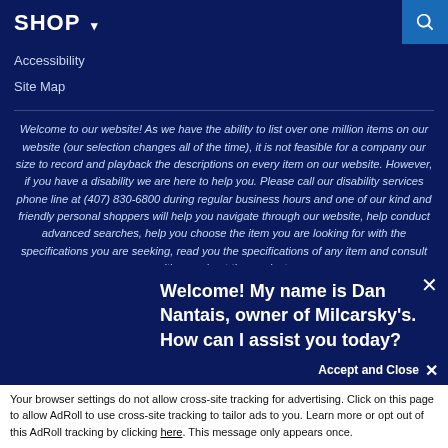SHOP ▾
Accessibility
Site Map
Welcome to our website! As we have the ability to list over one million items on our website (our selection changes all of the time), it is not feasible for a company our size to record and playback the descriptions on every item on our website. However, if you have a disability we are here to help you. Please call our disability services phone line at (407) 830-6800 during regular business hours and one of our kind and friendly personal shoppers will help you navigate through our website, help conduct advanced searches, help you choose the item you are looking for with the specifications you are seeking, read you the specifications of any item and consult with you about the products ther for ar our P
Welcome! My name is Dan Nantais, owner of Milcarsky's. How can I assist you today?
Your browser settings do not allow cross-site tracking for advertising. Click on this page to allow AdRoll to use cross-site tracking to tailor ads to you. Learn more or opt out of this AdRoll tracking by clicking here. This message only appears once.
Accept and Close ✕